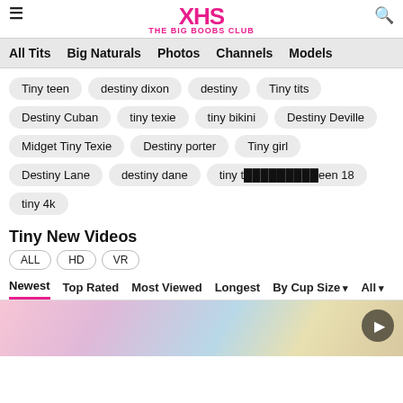XHS THE BIG BOOBS CLUB
All Tits | Big Naturals | Photos | Channels | Models
Tiny teen
destiny dixon
destiny
Tiny tits
Destiny Cuban
tiny texie
tiny bikini
Destiny Deville
Midget Tiny Texie
Destiny porter
Tiny girl
Destiny Lane
destiny dane
tiny t█████████een 18
tiny 4k
Tiny New Videos
ALL HD VR
Newest | Top Rated | Most Viewed | Longest | By Cup Size ▾ | All ▾
[Figure (photo): Partial preview of a video thumbnail showing colorful scene]